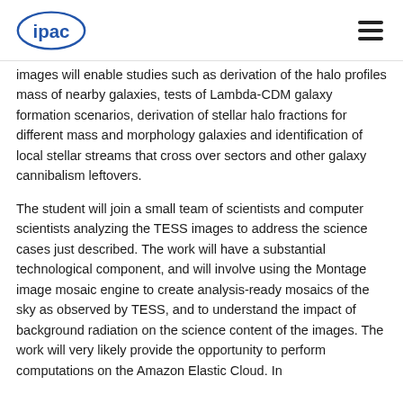ipac [logo] [menu]
images will enable studies such as derivation of the halo profiles mass of nearby galaxies, tests of Lambda-CDM galaxy formation scenarios, derivation of stellar halo fractions for different mass and morphology galaxies and identification of local stellar streams that cross over sectors and other galaxy cannibalism leftovers.
The student will join a small team of scientists and computer scientists analyzing the TESS images to address the science cases just described. The work will have a substantial technological component, and will involve using the Montage image mosaic engine to create analysis-ready mosaics of the sky as observed by TESS, and to understand the impact of background radiation on the science content of the images. The work will very likely provide the opportunity to perform computations on the Amazon Elastic Cloud. In